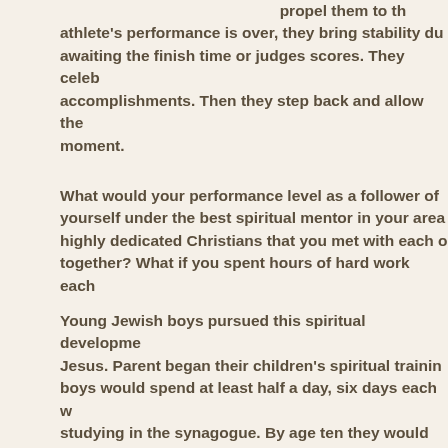propel them to th athlete's performance is over, they bring stability du awaiting the finish time or judges scores. They celeb accomplishments. Then they step back and allow the moment.
What would your performance level as a follower of yourself under the best spiritual mentor in your area highly dedicated Christians that you met with each o together? What if you spent hours of hard work each
Young Jewish boys pursued this spiritual developme Jesus. Parent began their children's spiritual trainin boys would spend at least half a day, six days each w studying in the synagogue. By age ten they would ha was the first five books of the Old Testament: Genes and Deuteronomy.
The best students would continue on and from the a